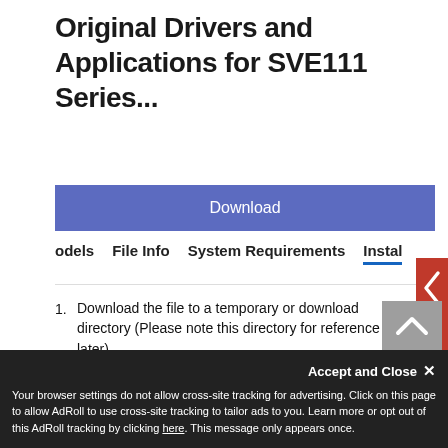Original Drivers and Applications for SVE111 Series...
[Figure (screenshot): Blue Download button]
odels   File Info   System Requirements   Install
1. Download the file to a temporary or download directory (Please note this directory for reference later).
2. Go to the directory where the file was downloaded and double-click the .exe file.
3. Follow the instructions displayed in the installation wizard.
4. After installation is completed, please restart the computer.
Accept and Close ✕
Your browser settings do not allow cross-site tracking for advertising. Click on this page to allow AdRoll to use cross-site tracking to tailor ads to you. Learn more or opt out of this AdRoll tracking by clicking here. This message only appears once.